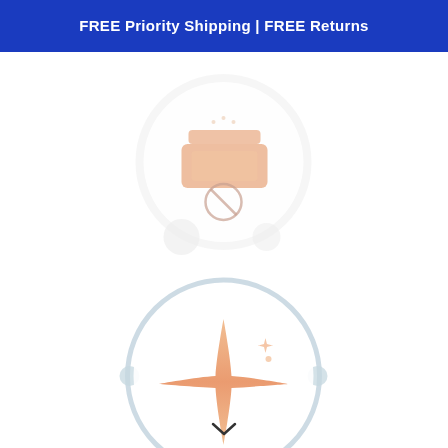FREE Priority Shipping | FREE Returns
[Figure (illustration): Circular icon with powder/compact product and circle-slash symbol, light peach/salmon colors on white background with soft blob shape]
[Figure (illustration): Circular icon with 4-pointed sparkle star in orange/peach gradient, surrounded by a light blue-grey ring with connector tabs]
[Figure (illustration): Circular icon with water drop and wave lines below it in peach/orange, on white blob background, with chevron arrow below]